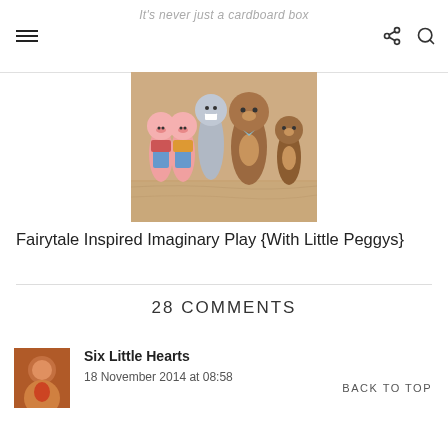It's never just a cardboard box
[Figure (photo): Photo of painted wooden peg dolls representing fairytale characters including two pink pigs, a grey wolf, and brown bears, standing on a wooden surface]
Fairytale Inspired Imaginary Play {With Little Peggys}
28 COMMENTS
Six Little Hearts
18 November 2014 at 08:58